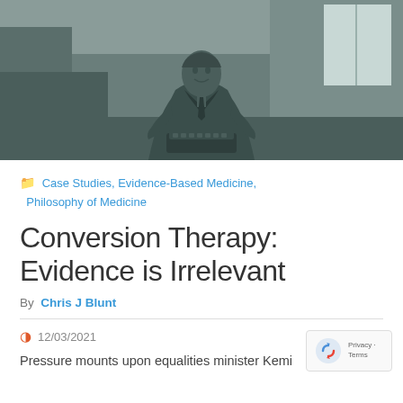[Figure (photo): Black and white photograph of a statue of a man in a suit seated at a desk or typewriter, in an indoor setting]
Case Studies, Evidence-Based Medicine, Philosophy of Medicine
Conversion Therapy: Evidence is Irrelevant
By Chris J Blunt
12/03/2021
Pressure mounts upon equalities minister Kemi